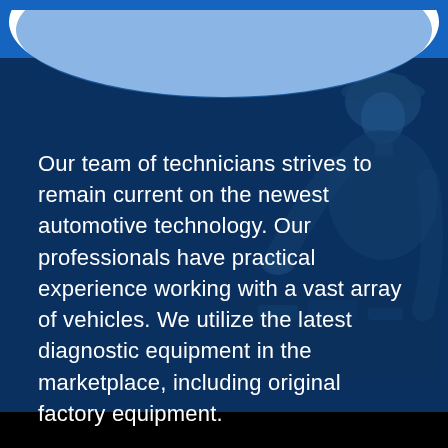[Figure (illustration): Dark navy blue background with a faded image of an automotive technician/mechanic wearing a cap, leaning over a vehicle engine bay. A decorative white-to-blue wave arc appears at the top of the image. A black bar is at the bottom.]
Our team of technicians strives to remain current on the newest automotive technology. Our professionals have practical experience working with a vast array of vehicles. We utilize the latest diagnostic equipment in the marketplace, including original factory equipment.